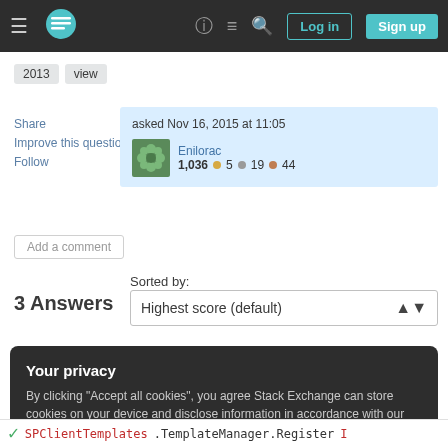Stack Exchange navigation bar with Log in and Sign up buttons
2013  view
Share
Improve this question
Follow
asked Nov 16, 2015 at 11:05  Enilorac  1,036  ●5  ●19  ●44
Add a comment
Sorted by:
3 Answers
Highest score (default)
Your privacy
By clicking "Accept all cookies", you agree Stack Exchange can store cookies on your device and disclose information in accordance with our Cookie Policy.
Accept all cookies
Customize settings
SPClientTemplates.TemplateManager.Regist